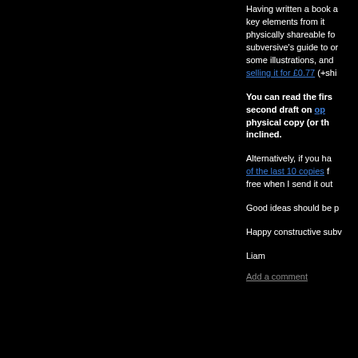Having written a book and wanting to share key elements from it in a format that's physically shareable for free, I created a subversive's guide to organisations. It has some illustrations, and I'm selling it for £0.77 (+shipping).
You can read the first draft and the second draft on open.substack.com. Buy a physical copy (or the PDF) if you're so inclined.
Alternatively, if you have one of the last 10 copies for free when I send it out.
Good ideas should be passed on.
Happy constructive subversion,
Liam
Add a comment